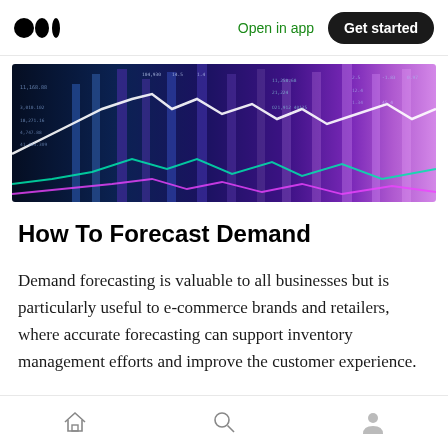Open in app | Get started
[Figure (photo): Financial data visualization with colorful line charts (white, green, purple) overlaid on a dark blue background with glowing bar chart columns and numerical data displays]
How To Forecast Demand
Demand forecasting is valuable to all businesses but is particularly useful to e-commerce brands and retailers, where accurate forecasting can support inventory management efforts and improve the customer experience.
Home | Search | Profile